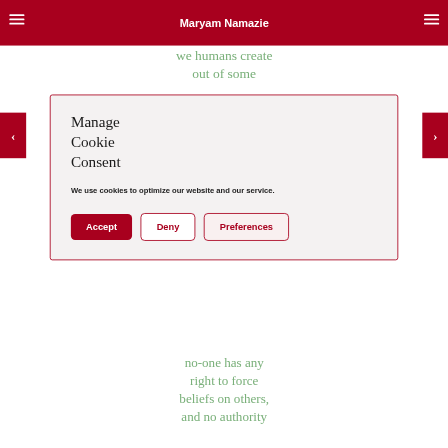Maryam Namazie
we humans create out of some
Manage Cookie Consent
We use cookies to optimize our website and our service.
Accept | Deny | Preferences
no-one has any right to force beliefs on others, and no authority